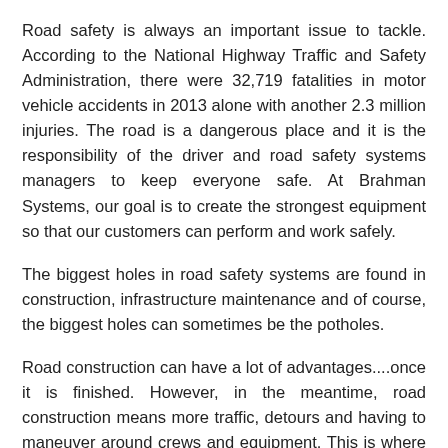Road safety is always an important issue to tackle. According to the National Highway Traffic and Safety Administration, there were 32,719 fatalities in motor vehicle accidents in 2013 alone with another 2.3 million injuries. The road is a dangerous place and it is the responsibility of the driver and road safety systems managers to keep everyone safe. At Brahman Systems, our goal is to create the strongest equipment so that our customers can perform and work safely.
The biggest holes in road safety systems are found in construction, infrastructure maintenance and of course, the biggest holes can sometimes be the potholes.
Road construction can have a lot of advantages....once it is finished. However, in the meantime, road construction means more traffic, detours and having to maneuver around crews and equipment. This is where it can get dangerous for some commuters. During construction, digging underground and excavating old roadways requires the use of a lot of heavy duty vehicles and tools. That means lots of debris